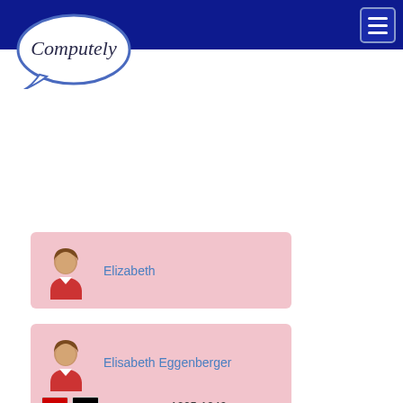[Figure (logo): Computely speech bubble logo]
[Figure (infographic): Hamburger menu button top right]
Elizabeth
Elisabeth Eggenberger
1205-1240